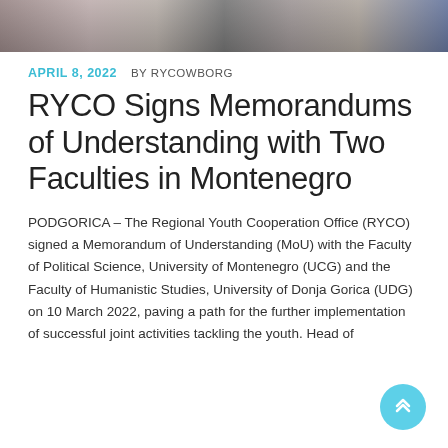[Figure (photo): Cropped photo strip showing people seated, partial view of hands and clothing]
APRIL 8, 2022  BY RYCOWBORG
RYCO Signs Memorandums of Understanding with Two Faculties in Montenegro
PODGORICA – The Regional Youth Cooperation Office (RYCO) signed a Memorandum of Understanding (MoU) with the Faculty of Political Science, University of Montenegro (UCG) and the Faculty of Humanistic Studies, University of Donja Gorica (UDG) on 10 March 2022, paving a path for the further implementation of successful joint activities tackling the youth. Head of